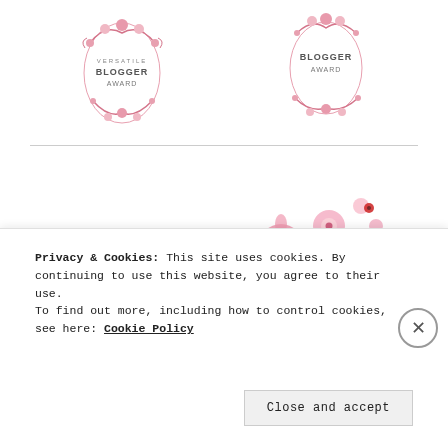[Figure (logo): Versatile Blogger Award badge with pink floral wreath]
[Figure (logo): Blogger Award badge with pink floral wreath]
[Figure (logo): Discover New Blogs Liebster Award badge with pink flowers]
[Figure (illustration): Small broken image placeholder icon]
[Figure (logo): Poet's banner with Celtic knotwork decoration and blue border]
Privacy & Cookies: This site uses cookies. By continuing to use this website, you agree to their use. To find out more, including how to control cookies, see here: Cookie Policy
Close and accept